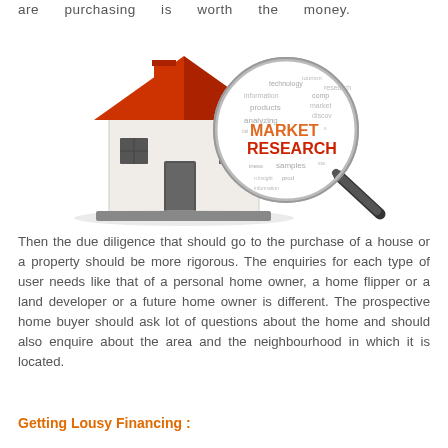are purchasing is worth the money.
[Figure (illustration): 3D illustration of a white house with red roof next to a magnifying glass showing word cloud with MARKET RESEARCH prominently displayed in orange and red text, surrounded by other research-related words like products, analyzing, samples, information, discover, marketing]
Then the due diligence that should go to the purchase of a house or a property should be more rigorous. The enquiries for each type of user needs like that of a personal home owner, a home flipper or a land developer or a future home owner is different. The prospective home buyer should ask lot of questions about the home and should also enquire about the area and the neighbourhood in which it is located.
Getting Lousy Financing :